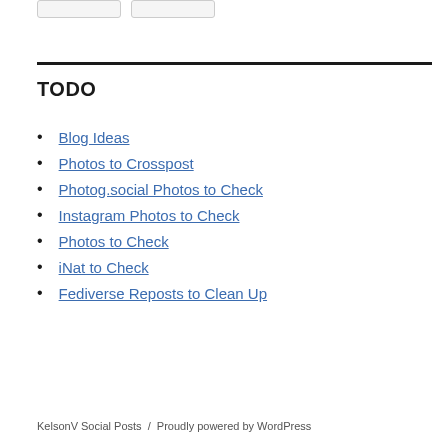TODO
Blog Ideas
Photos to Crosspost
Photog.social Photos to Check
Instagram Photos to Check
Photos to Check
iNat to Check
Fediverse Reposts to Clean Up
KelsonV Social Posts  /  Proudly powered by WordPress